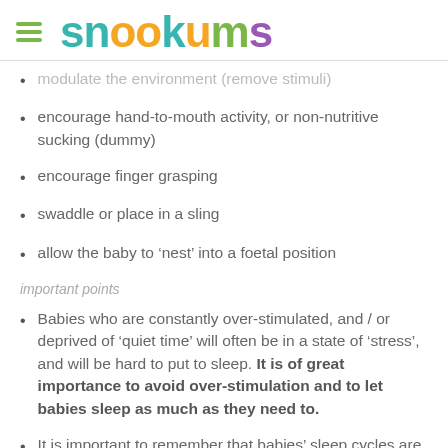snookums
modulate the environment (remove stimuli)
encourage hand-to-mouth activity, or non-nutritive sucking (dummy)
encourage finger grasping
swaddle or place in a sling
allow the baby to ‘nest’ into a foetal position
important points
Babies who are constantly over-stimulated, and / or deprived of ‘quiet time’ will often be in a state of ‘stress’, and will be hard to put to sleep. It is of great importance to avoid over-stimulation and to let babies sleep as much as they need to.
It is important to remember that babies’ sleep cycles are